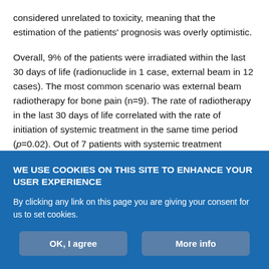considered unrelated to toxicity, meaning that the estimation of the patients' prognosis was overly optimistic.
Overall, 9% of the patients were irradiated within the last 30 days of life (radionuclide in 1 case, external beam in 12 cases). The most common scenario was external beam radiotherapy for bone pain (n=9). The rate of radiotherapy in the last 30 days of life correlated with the rate of initiation of systemic treatment in the same time period (p=0.02). Out of 7 patients with systemic treatment initiation, 3 (43%) also had radiotherapy. Out of 139 patients without initiation of systemic therapy in the last 30 days, only 7% (n=10) had radiotherapy. Table IV shows other statistically significant
WE USE COOKIES ON THIS SITE TO ENHANCE YOUR USER EXPERIENCE
By clicking any link on this page you are giving your consent for us to set cookies.